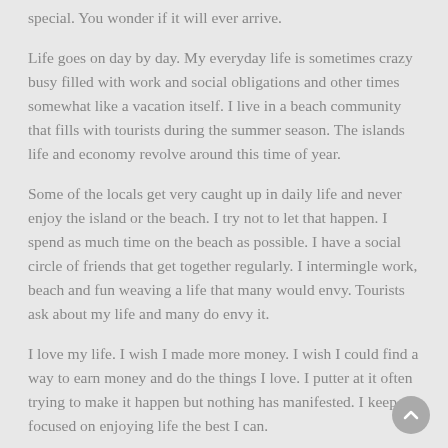special. You wonder if it will ever arrive.
Life goes on day by day. My everyday life is sometimes crazy busy filled with work and social obligations and other times somewhat like a vacation itself. I live in a beach community that fills with tourists during the summer season. The islands life and economy revolve around this time of year.
Some of the locals get very caught up in daily life and never enjoy the island or the beach. I try not to let that happen. I spend as much time on the beach as possible. I have a social circle of friends that get together regularly. I intermingle work, beach and fun weaving a life that many would envy. Tourists ask about my life and many do envy it.
I love my life. I wish I made more money. I wish I could find a way to earn money and do the things I love. I putter at it often trying to make it happen but nothing has manifested. I keep focused on enjoying life the best I can.
People always ask me what I do on vacation or even why I go on vacation. The answer is simple. I love to travel. I love